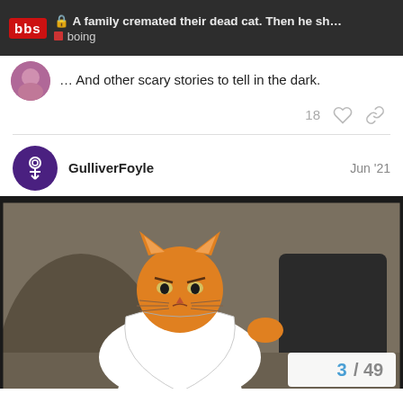A family cremated their dead cat. Then he sh... | boing
… And other scary stories to tell in the dark.
18
GulliverFoyle   Jun '21
[Figure (illustration): Cartoon illustration of a grumpy orange cat dressed in white robes, styled as a risen-from-the-dead parody image, set against a grey cave background with a dark stone being rolled away. Page counter showing 3/49 in bottom right.]